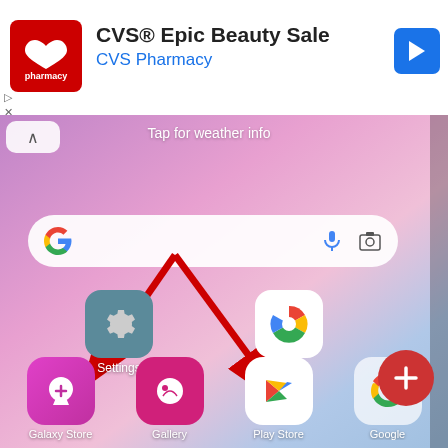[Figure (screenshot): CVS Pharmacy advertisement banner at the top showing CVS logo, 'CVS® Epic Beauty Sale' title, 'CVS Pharmacy' subtitle, and a navigation arrow icon. Below is a screenshot of an Android phone home screen showing 'Tap for weather info', a Google search bar, Settings and Photos app icons in the middle row, and Galaxy Store, Gallery, Play Store, Google app icons at the bottom, with two red arrows pointing to Galaxy Store and Play Store icons.]